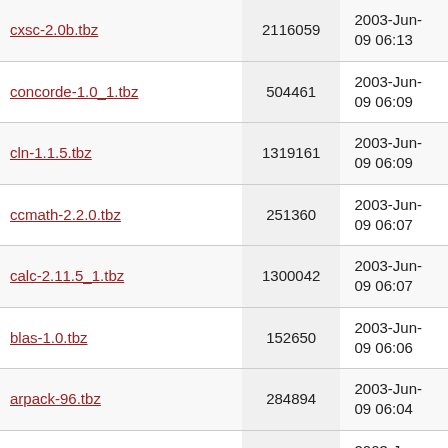| cxsc-2.0b.tbz | 2116059 | 2003-Jun-09 06:13 |
| concorde-1.0_1.tbz | 504461 | 2003-Jun-09 06:09 |
| cln-1.1.5.tbz | 1319161 | 2003-Jun-09 06:09 |
| ccmath-2.2.0.tbz | 251360 | 2003-Jun-09 06:07 |
| calc-2.11.5_1.tbz | 1300042 | 2003-Jun-09 06:07 |
| blas-1.0.tbz | 152650 | 2003-Jun-09 06:06 |
| arpack-96.tbz | 284894 | 2003-Jun-09 06:04 |
| apc-1.0.tbz | 20499 | 2003-Jun-09 06:02 |
| add-1.0.tbz | 26551 | 2003-Jun-09 06:00 |
| GiNaC-1.1.0.tbz | 1567148 | 2003-Jun-09 05:53 |
| Fudgit-2.41.tbz | 152826 | 2003-Jun-09 05:53 |